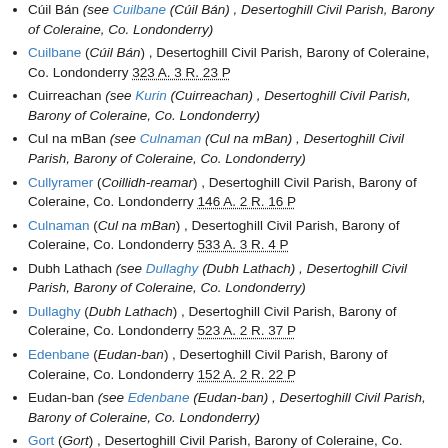Cúil Bán (see Cuilbane (Cúil Bán) , Desertoghill Civil Parish, Barony of Coleraine, Co. Londonderry)
Cuilbane (Cúil Bán) , Desertoghill Civil Parish, Barony of Coleraine, Co. Londonderry 323 A. 3 R. 23 P
Cuirreachan (see Kurin (Cuirreachan) , Desertoghill Civil Parish, Barony of Coleraine, Co. Londonderry)
Cul na mBan (see Culnaman (Cul na mBan) , Desertoghill Civil Parish, Barony of Coleraine, Co. Londonderry)
Cullyramer (Coillidh-reamar) , Desertoghill Civil Parish, Barony of Coleraine, Co. Londonderry 146 A. 2 R. 16 P
Culnaman (Cul na mBan) , Desertoghill Civil Parish, Barony of Coleraine, Co. Londonderry 533 A. 3 R. 4 P
Dubh Lathach (see Dullaghy (Dubh Lathach) , Desertoghill Civil Parish, Barony of Coleraine, Co. Londonderry)
Dullaghy (Dubh Lathach) , Desertoghill Civil Parish, Barony of Coleraine, Co. Londonderry 523 A. 2 R. 37 P
Edenbane (Eudan-ban) , Desertoghill Civil Parish, Barony of Coleraine, Co. Londonderry 152 A. 2 R. 22 P
Eudan-ban (see Edenbane (Eudan-ban) , Desertoghill Civil Parish, Barony of Coleraine, Co. Londonderry)
Gort (Gort) , Desertoghill Civil Parish, Barony of Coleraine, Co. Londonderry 7 A. 0 R. 24 P